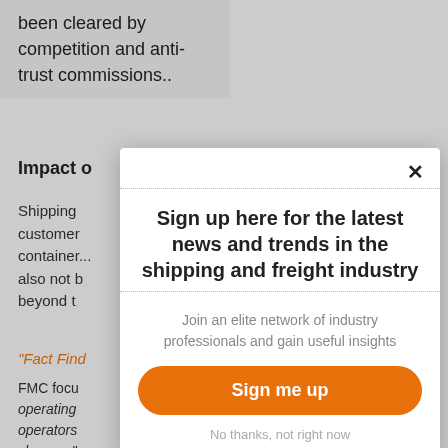been cleared by competition and anti-trust commissions..
Impact o
Shipping customers container... also not b beyond t
"Fact Fin
FMC focu operating operators charges."..
[Figure (other): Modal popup overlay with newsletter signup. Title: 'Sign up here for the latest news and trends in the shipping and freight industry'. Subtitle: 'Join an elite network of industry professionals and gain useful insights'. Orange button: 'Sign me up'. Link: 'No thanks, not right now'. Close X button in top right.]